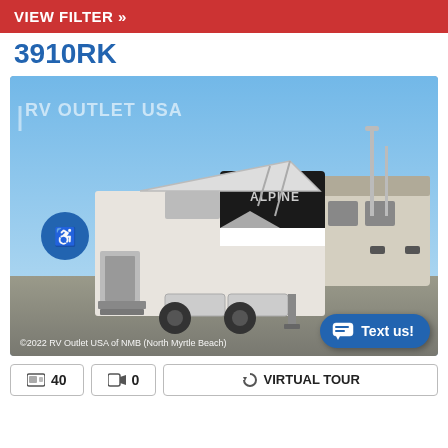VIEW FILTER »
3910RK
[Figure (photo): RV fifth-wheel trailer (Alpine brand) with awning extended, parked in dealer lot. RV Outlet USA watermark logo in top-left of photo. Accessibility icon button overlaid on left side. Copyright text: ©2022 RV Outlet USA of NMB (North Myrtle Beach). Text us! button at bottom right.]
©2022 RV Outlet USA of NMB (North Myrtle Beach)
📷 40
🎥 0
⟳ VIRTUAL TOUR